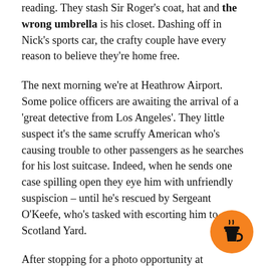reading. They stash Sir Roger's coat, hat and the wrong umbrella is his closet. Dashing off in Nick's sports car, the crafty couple have every reason to believe they're home free.
The next morning we're at Heathrow Airport. Some police officers are awaiting the arrival of a 'great detective from Los Angeles'. They little suspect it's the same scruffy American who's causing trouble to other passengers as he searches for his lost suitcase. Indeed, when he sends one case spilling open they eye him with unfriendly suspiscion – until he's rescued by Sergeant O'Keefe, who's tasked with escorting him to Scotland Yard.
After stopping for a photo opportunity at Buckingham Palace, Columbo is delivered to Detective Chief Superintendent [obscured] – his host for his London jaunt, where he's come to see Scotland Yard's cutting-edge policing techniques in action.
[Figure (illustration): Orange circular button with a coffee cup icon (Buy Me a Coffee widget) in the bottom-right corner]